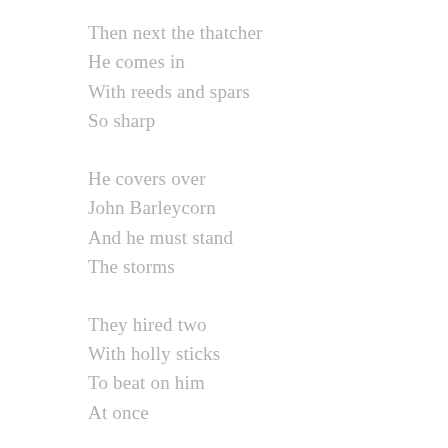Then next the thatcher
He comes in
With reeds and spars
So sharp
He covers over
John Barleycorn
And he must stand
The storms
They hired two
With holly sticks
To beat on him
At once
They thwacked so
On Barleycorn
They best fell from